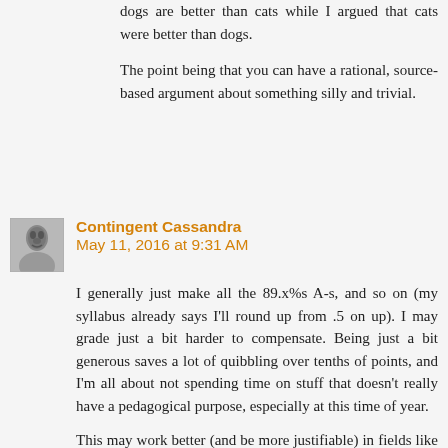dogs are better than cats while I argued that cats were better than dogs.
The point being that you can have a rational, source-based argument about something silly and trivial.
Contingent Cassandra May 11, 2016 at 9:31 AM
I generally just make all the 89.x%s A-s, and so on (my syllabus already says I'll round up from .5 on up). I may grade just a bit harder to compensate. Being just a bit generous saves a lot of quibbling over tenths of points, and I'm all about not spending time on stuff that doesn't really have a pedagogical purpose, especially at this time of year.
This may work better (and be more justifiable) in fields like mine where grading is, realistically more subjective (though not as subjective as